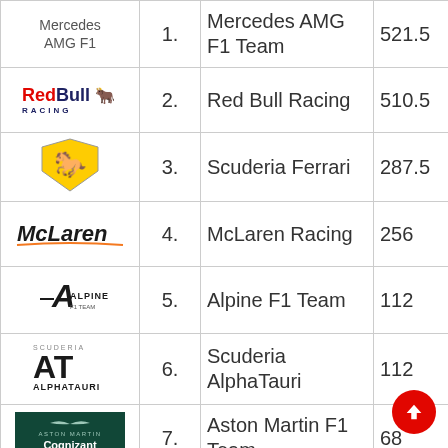| Logo | Position | Team | Points |
| --- | --- | --- | --- |
| Mercedes AMG F1 Team logo (partial) | 1. | Mercedes AMG F1 Team | 521.5 |
| Red Bull Racing logo | 2. | Red Bull Racing | 510.5 |
| Scuderia Ferrari logo | 3. | Scuderia Ferrari | 287.5 |
| McLaren logo | 4. | McLaren Racing | 256 |
| Alpine F1 Team logo | 5. | Alpine F1 Team | 112 |
| Scuderia AlphaTauri logo | 6. | Scuderia AlphaTauri | 112 |
| Aston Martin F1 Team logo | 7. | Aston Martin F1 Team | 68 |
| Williams logo (partial) |  | Williams |  |